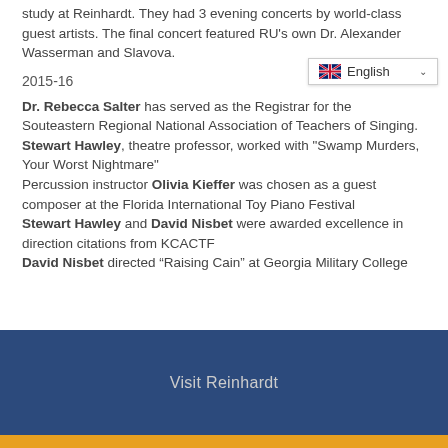study at Reinhardt. They had 3 evening concerts by world-class guest artists. The final concert featured RU's own Dr. Alexander Wasserman and Slavova.
2015-16
Dr. Rebecca Salter has served as the Registrar for the Souteastern Regional National Association of Teachers of Singing.
Stewart Hawley, theatre professor, worked with "Swamp Murders, Your Worst Nightmare"
Percussion instructor Olivia Kieffer was chosen as a guest composer at the Florida International Toy Piano Festival
Stewart Hawley and David Nisbet were awarded excellence in direction citations from KCACTF
David Nisbet directed “Raising Cain” at Georgia Military College
Visit Reinhardt